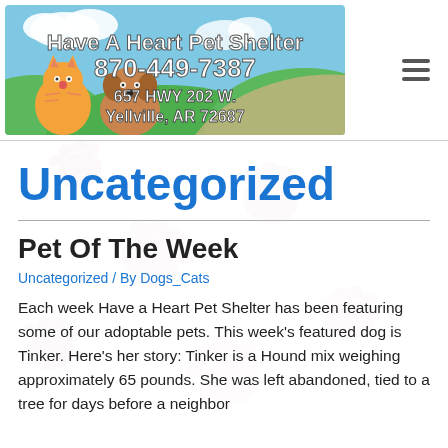[Figure (illustration): Have A Heart Pet Shelter banner with cartoon cat and dog, phone number 870-449-7387, address 657 HWY 202 W., Yellville, AR 72687, green hills background]
Uncategorized
Pet Of The Week
Uncategorized / By Dogs_Cats
Each week Have a Heart Pet Shelter has been featuring some of our adoptable pets. This week's featured dog is Tinker. Here's her story: Tinker is a Hound mix weighing approximately 65 pounds. She was left abandoned, tied to a tree for days before a neighbor